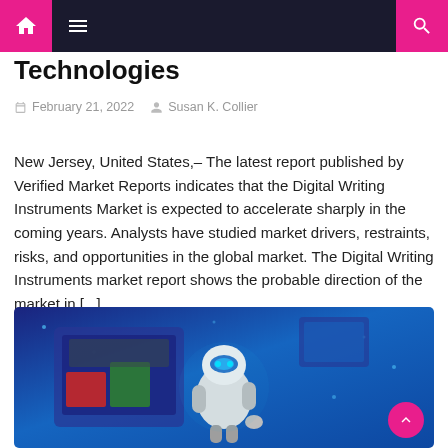Navigation bar with home, menu, and search icons
Technologies
February 21, 2022   Susan K. Collier
New Jersey, United States,– The latest report published by Verified Market Reports indicates that the Digital Writing Instruments Market is expected to accelerate sharply in the coming years. Analysts have studied market drivers, restraints, risks, and opportunities in the global market. The Digital Writing Instruments market report shows the probable direction of the market in [...]
[Figure (illustration): Illustration of a white robot/AI figure interacting with digital screens on a blue gradient background]